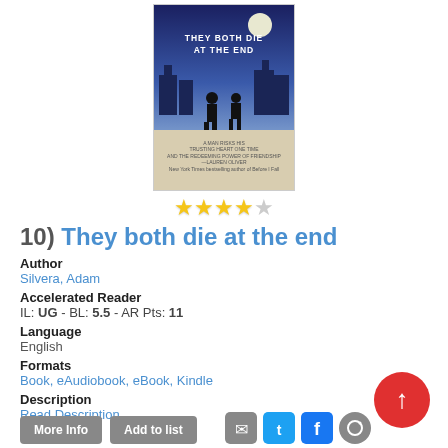[Figure (illustration): Book cover for 'They Both Die at the End' showing two silhouetted figures against a blue night cityscape with a moon]
[Figure (other): 4 out of 5 star rating shown as yellow stars]
10) They both die at the end
Author
Silvera, Adam
Accelerated Reader
IL: UG - BL: 5.5 - AR Pts: 11
Language
English
Formats
Book, eAudiobook, eBook, Kindle
Description
Read Description
More Info
Add to list